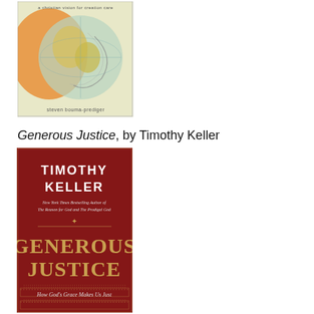[Figure (illustration): Book cover for a book by Steven Bouma-Prediger, titled 'a christian vision for creation care', featuring a stylized globe with orange and teal colors.]
Generous Justice, by Timothy Keller
[Figure (illustration): Book cover for 'Generous Justice: How God's Grace Makes Us Just' by Timothy Keller. Dark red background with gold and white text. Author described as New York Times Bestselling Author of The Reason for God and The Prodigal God.]